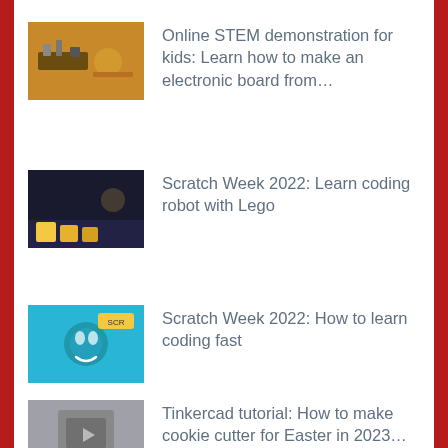Online STEM demonstration for kids: Learn how to make an electronic board from…
Scratch Week 2022: Learn coding robot with Lego
Scratch Week 2022: How to learn coding fast
Tinkercad tutorial: How to make cookie cutter for Easter in 2023…